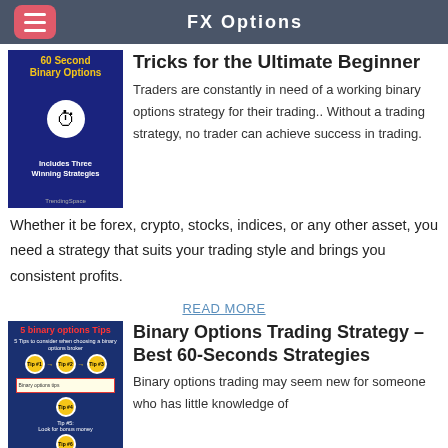FX Options
[Figure (illustration): Book cover: 60 Second Binary Options with yellow title text and hand holding stopwatch, dark blue background, 'Includes Three Winning Strategies']
Tricks for the Ultimate Beginner
Traders are constantly in need of a working binary options strategy for their trading.. Without a trading strategy, no trader can achieve success in trading.
Whether it be forex, crypto, stocks, indices, or any other asset, you need a strategy that suits your trading style and brings you consistent profits.
READ MORE
[Figure (infographic): Infographic: 5 binary options Tips with yellow circular nodes connected by arrows on blue background, showing tip flow chart]
Binary Options Trading Strategy – Best 60-Seconds Strategies
Binary options trading may seem new for someone who has little knowledge of